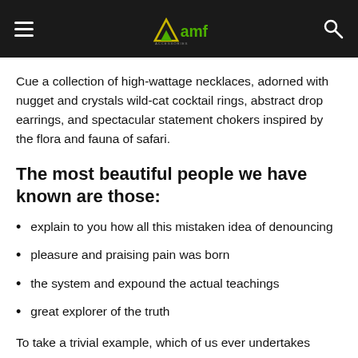amf
Cue a collection of high-wattage necklaces, adorned with nugget and crystals wild-cat cocktail rings, abstract drop earrings, and spectacular statement chokers inspired by the flora and fauna of safari.
The most beautiful people we have known are those:
explain to you how all this mistaken idea of denouncing
pleasure and praising pain was born
the system and expound the actual teachings
great explorer of the truth
To take a trivial example, which of us ever undertakes